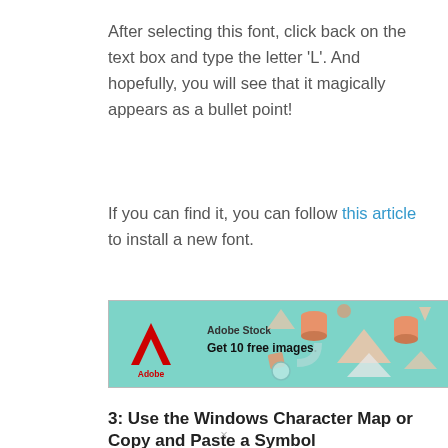After selecting this font, click back on the text box and type the letter 'L'. And hopefully, you will see that it magically appears as a bullet point!
If you can find it, you can follow this article to install a new font.
[Figure (illustration): Adobe Stock advertisement banner with teal/mint background, Adobe logo on left, text 'Adobe Stock / Get 10 free images.' and decorative 3D geometric shapes on the right.]
3: Use the Windows Character Map or Copy and Paste a Symbol
Although the Character Map option is only available for Windows users, it allows you to essentially copy and paste a bullet point symbol directly into the text box.